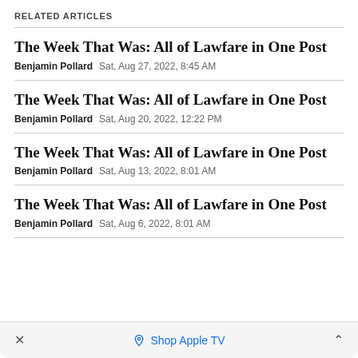RELATED ARTICLES
The Week That Was: All of Lawfare in One Post
Benjamin Pollard   Sat, Aug 27, 2022, 8:45 AM
The Week That Was: All of Lawfare in One Post
Benjamin Pollard   Sat, Aug 20, 2022, 12:22 PM
The Week That Was: All of Lawfare in One Post
Benjamin Pollard   Sat, Aug 13, 2022, 8:01 AM
The Week That Was: All of Lawfare in One Post
Benjamin Pollard   Sat, Aug 6, 2022, 8:01 AM
× Shop Apple TV ^